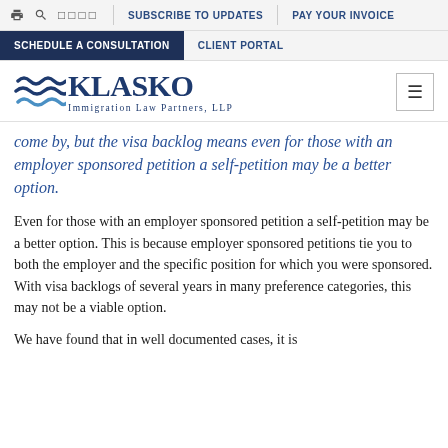🖨 🔍 □□□□ | SUBSCRIBE TO UPDATES | PAY YOUR INVOICE
SCHEDULE A CONSULTATION | CLIENT PORTAL
[Figure (logo): Klasko Immigration Law Partners, LLP logo with wave graphic]
come by, but the visa backlog means even for those with an employer sponsored petition a self-petition may be a better option.
Even for those with an employer sponsored petition a self-petition may be a better option. This is because employer sponsored petitions tie you to both the employer and the specific position for which you were sponsored. With visa backlogs of several years in many preference categories, this may not be a viable option.
We have found that in well documented cases, it is